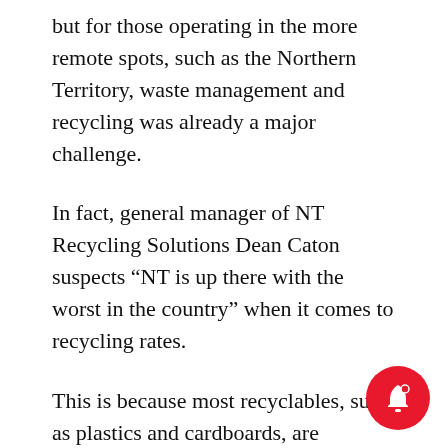but for those operating in the more remote spots, such as the Northern Territory, waste management and recycling was already a major challenge.
In fact, general manager of NT Recycling Solutions Dean Caton suspects “NT is up there with the worst in the country” when it comes to recycling rates.
This is because most recyclables, such as plastics and cardboards, are extremely expensive to ship east or south for processing, he told The Fifth Estate. He said that when recycling is so costly it’s more difficult to justify it over landfill.